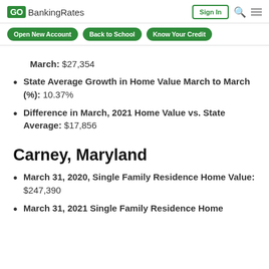GOBankingRates | Sign In
Open New Account | Back to School | Know Your Credit
March: $27,354
State Average Growth in Home Value March to March (%): 10.37%
Difference in March, 2021 Home Value vs. State Average: $17,856
Carney, Maryland
March 31, 2020, Single Family Residence Home Value: $247,390
March 31, 2021 Single Family Residence Home